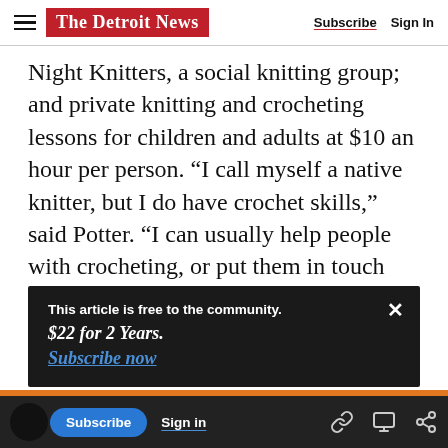The Detroit News | Subscribe | Sign In
Night Knitters, a social knitting group; and private knitting and crocheting lessons for children and adults at $10 an hour per person. “I call myself a native knitter, but I do have crochet skills,” said Potter. “I can usually help people with crocheting, or put them in touch with a more knowledgeable crocheter.” She has both crocheting and knitting instructors come into the shop to teach.
This article is free to the community.
$22 for 2 Years.
Subscribe now